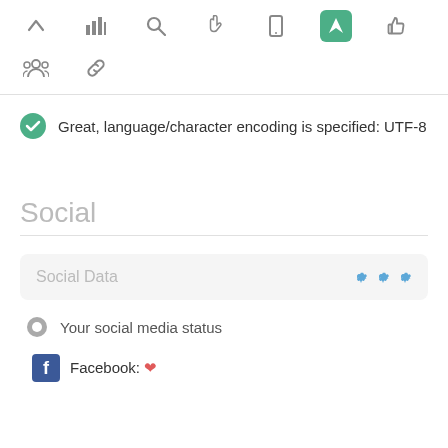[Figure (screenshot): Toolbar row with icons: up arrow, bar chart, search/magnifier, hand/cursor, mobile, navigation arrow (active/green), thumbs up]
[Figure (screenshot): Second toolbar row with icons: group/people, chain/links]
Great, language/character encoding is specified: UTF-8
Social
Social Data
Your social media status
Facebook: ♥